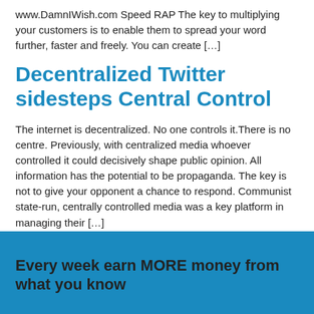www.DamnIWish.com Speed RAP The key to multiplying your customers is to enable them to spread your word further, faster and freely. You can create […]
Decentralized Twitter sidesteps Central Control
The internet is decentralized. No one controls it.There is no centre. Previously, with centralized media whoever controlled it could decisively shape public opinion. All information has the potential to be propaganda. The key is not to give your opponent a chance to respond. Communist state-run, centrally controlled media was a key platform in managing their […]
Every week earn MORE money from what you know